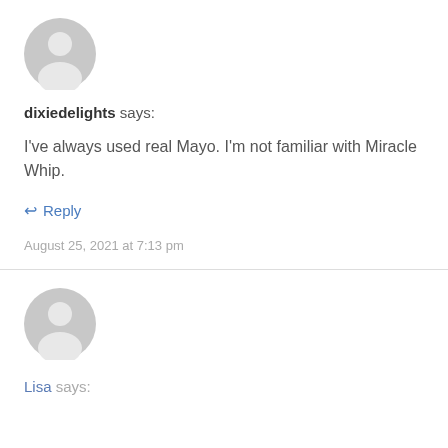[Figure (illustration): Grey default user avatar icon (circle with person silhouette) for user dixiedelights]
dixiedelights says:
I've always used real Mayo. I'm not familiar with Miracle Whip.
↩ Reply
August 25, 2021 at 7:13 pm
[Figure (illustration): Grey default user avatar icon (circle with person silhouette) for user Lisa]
Lisa says: